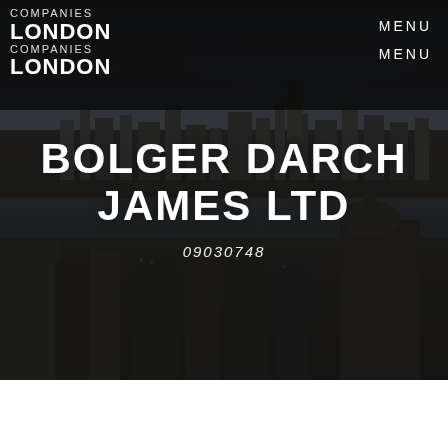[Figure (photo): Aerial panoramic view of London city skyline with dark overlay, featuring skyscrapers including The Gherkin, the Thames river, and historic buildings including St Paul's Cathedral, used as hero background image.]
COMPANIES
LONDON
COMPANIES
LONDON
MENU
MENU
BOLGER DARCH JAMES LTD
09030748